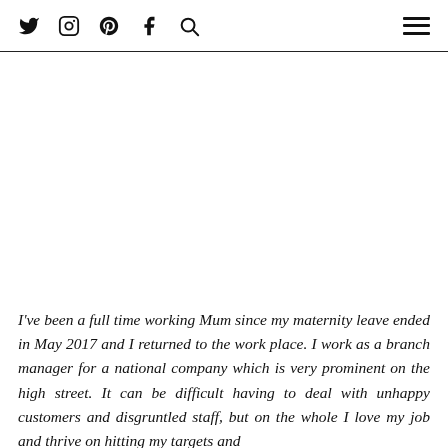Social media navigation icons (Twitter, Instagram, Pinterest, Facebook, Search) and hamburger menu
I've been a full time working Mum since my maternity leave ended in May 2017 and I returned to the work place. I work as a branch manager for a national company which is very prominent on the high street. It can be difficult having to deal with unhappy customers and disgruntled staff, but on the whole I love my job and thrive on hitting my targets and